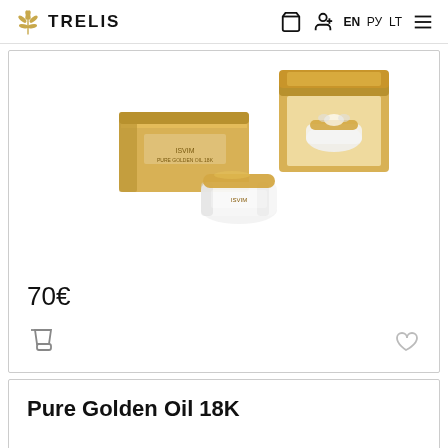TRELIS  EN PY LT
[Figure (photo): Product photo showing luxury golden cosmetic packaging: a rectangular gold box, an open gold gift box with a crystal jar, and a standalone crystal cream jar with gold lid]
70€
Pure Golden Oil 18K